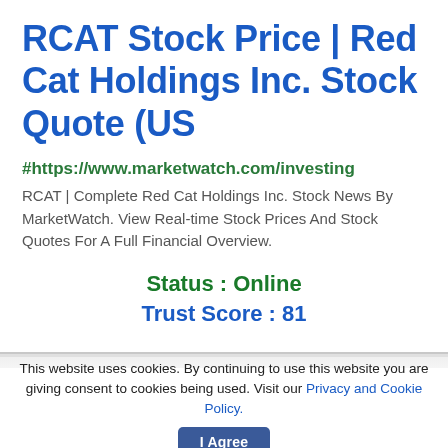RCAT Stock Price | Red Cat Holdings Inc. Stock Quote (US
#https://www.marketwatch.com/investing
RCAT | Complete Red Cat Holdings Inc. Stock News By MarketWatch. View Real-time Stock Prices And Stock Quotes For A Full Financial Overview.
Status : Online
Trust Score : 81
This website uses cookies. By continuing to use this website you are giving consent to cookies being used. Visit our Privacy and Cookie Policy.
I Agree